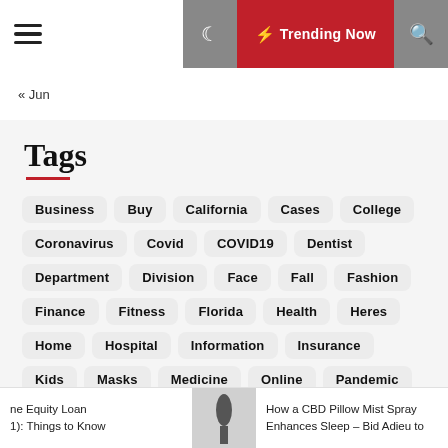Trending Now
« Jun
Tags
Business
Buy
California
Cases
College
Coronavirus
Covid
COVID19
Dentist
Department
Division
Face
Fall
Fashion
Finance
Fitness
Florida
Health
Heres
Home
Hospital
Information
Insurance
Kids
Masks
Medicine
Online
Pandemic
People
Public
Reopen
Reopening
School
Home Equity Loan 1): Things to Know | How a CBD Pillow Mist Spray Enhances Sleep – Bid Adieu to